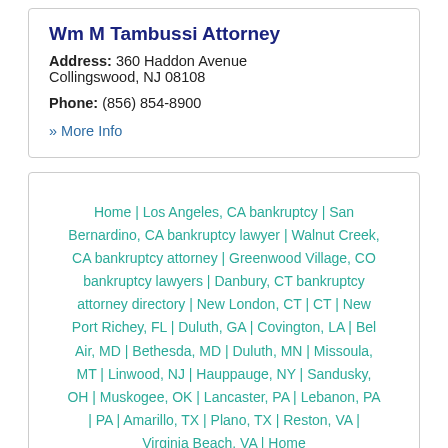Wm M Tambussi Attorney
Address: 360 Haddon Avenue Collingswood, NJ 08108
Phone: (856) 854-8900
» More Info
Home | Los Angeles, CA bankruptcy | San Bernardino, CA bankruptcy lawyer | Walnut Creek, CA bankruptcy attorney | Greenwood Village, CO bankruptcy lawyers | Danbury, CT bankruptcy attorney directory | New London, CT | CT | New Port Richey, FL | Duluth, GA | Covington, LA | Bel Air, MD | Bethesda, MD | Duluth, MN | Missoula, MT | Linwood, NJ | Hauppauge, NY | Sandusky, OH | Muskogee, OK | Lancaster, PA | Lebanon, PA | PA | Amarillo, TX | Plano, TX | Reston, VA | Virginia Beach, VA | Home
Attorney directory of attorneys to assist you